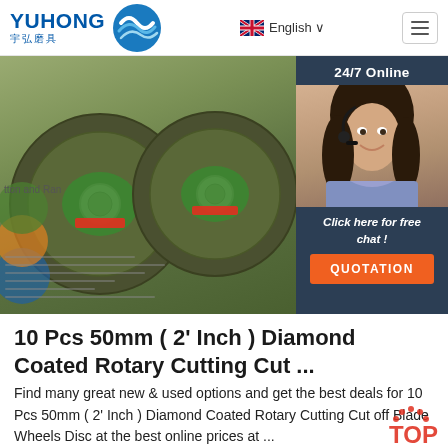YUHONG 宇弘磨具 — English (navigation header)
[Figure (photo): Product photo showing green abrasive cutting discs/wheels stacked together, with a customer service chat widget overlay showing a woman with headset, '24/7 Online', 'Click here for free chat!', and 'QUOTATION' button]
10 Pcs 50mm ( 2' Inch ) Diamond Coated Rotary Cutting Cut ...
Find many great new & used options and get the best deals for 10 Pcs 50mm ( 2' Inch ) Diamond Coated Rotary Cutting Cut off Blade Wheels Disc at the best online prices at ...